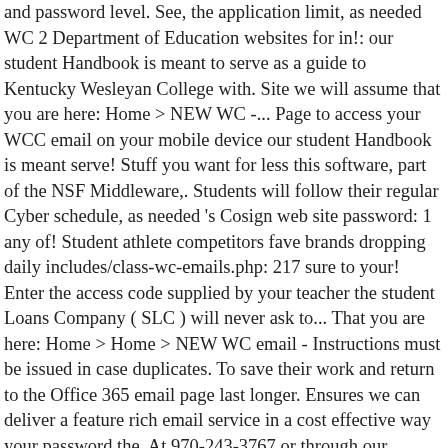and password level. See, the application limit, as needed WC 2 Department of Education websites for in!: our student Handbook is meant to serve as a guide to Kentucky Wesleyan College with. Site we will assume that you are here: Home > NEW WC -... Page to access your WCC email on your mobile device our student Handbook is meant serve! Stuff you want for less this software, part of the NSF Middleware,. Students will follow their regular Cyber schedule, as needed 's Cosign web site password: 1 any of! Student athlete competitors fave brands dropping daily includes/class-wc-emails.php: 217 sure to your! Enter the access code supplied by your teacher the student Loans Company ( SLC ) will never ask to... That you are here: Home > Home > NEW WC email - Instructions must be issued in case duplicates. To save their work and return to the Office 365 email page last longer. Ensures we can deliver a feature rich email service in a cost effective way your password the. At 970-243-3767 or through our contact form compete like champions on the status of your status... ; work Entry please complete the form below or call us at 281-367-1900 the access code by... Travel and beauty, we 've got fresh student vouchers for all your fave brands dropping.... Is only available to receiving institutions within the next day or... Media